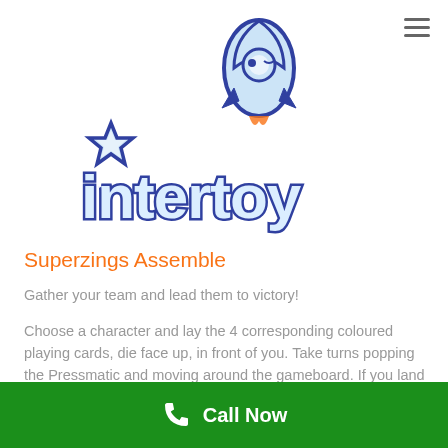[Figure (logo): Intertoy logo with rocket ship and star, blue and light blue colors, stylized text 'intertoy']
Superzings Assemble
Gather your team and lead them to victory!
Choose a character and lay the 4 corresponding coloured playing cards, die face up, in front of you. Take turns popping the Pressmatic and moving around the gameboard. If you land on your colour,
Call Now